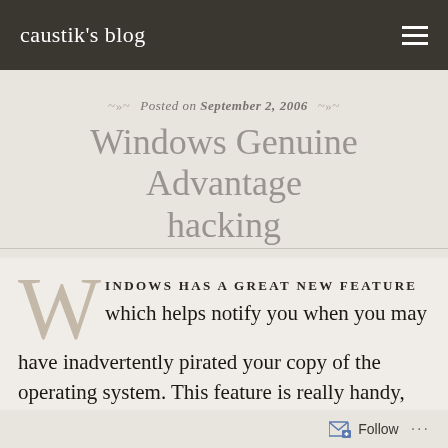caustik's blog
Posted on September 2, 2006
Windows Genuine Advantage hacking
WINDOWS HAS A GREAT NEW FEATURE which helps notify you when you may have inadvertently pirated your copy of the operating system. This feature is really handy, because sometimes people will slip and fall and